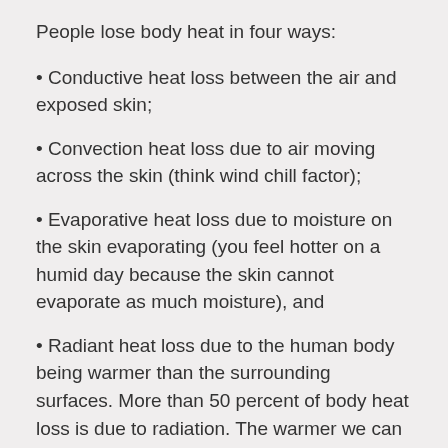People lose body heat in four ways:
Conductive heat loss between the air and exposed skin;
Convection heat loss due to air moving across the skin (think wind chill factor);
Evaporative heat loss due to moisture on the skin evaporating (you feel hotter on a humid day because the skin cannot evaporate as much moisture), and
Radiant heat loss due to the human body being warmer than the surrounding surfaces. More than 50 percent of body heat loss is due to radiation. The warmer we can make our surroundings, the less heat we will radiate to those surfaces and the warmer we will feel. This is referred to as “Mean Radiant Temperature.” Increasing the surface temperature of the glass will result in a higher mean radiant temperature and ultimately a greater feeling